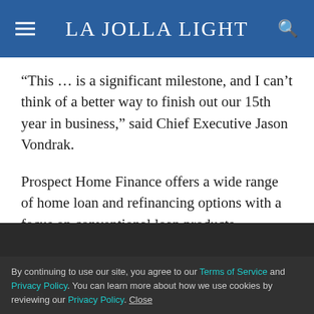La Jolla Light
“This … is a significant milestone, and I can’t think of a better way to finish out our 15th year in business,” said Chief Executive Jason Vondrak.
Prospect Home Finance offers a wide range of home loan and refinancing options with a focus on conventional loan products.
Learn more at homefinance.com.
By continuing to use our site, you agree to our Terms of Service and Privacy Policy. You can learn more about how we use cookies by reviewing our Privacy Policy. Close
Next spring or summer, Pop-Up Picnic Co. will open an